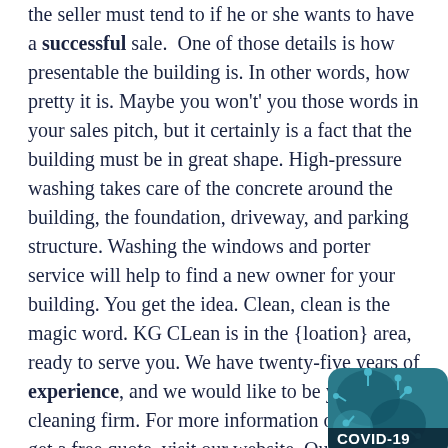the seller must tend to if he or she wants to have a successful sale. One of those details is how presentable the building is. In other words, how pretty it is. Maybe you won't' you those words in your sales pitch, but it certainly is a fact that the building must be in great shape. High-pressure washing takes care of the concrete around the building, the foundation, driveway, and parking structure. Washing the windows and porter service will help to find a new owner for your building. You get the idea. Clean, clean is the magic word. KG CLean is in the {loation} area, ready to serve you. We have twenty-five years of experience, and we would like to be your next cleaning firm. For more information on how to get a free quote, visit our website. Our technicians are on stand by. Contact us today!
No amount of uncleanliness can keep us from a perfectly clean and disinfected home or business. As time continues ticking and our
[Figure (photo): COVID-19 what you should know badge with coronavirus image]